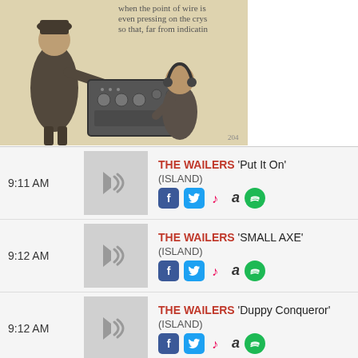[Figure (illustration): Vintage sepia-toned illustration of two people operating an early radio/crystal set device. Text visible at top reads 'when the point of wire is even pressing on the crys so that, far from indicatin'. A page number '204' is visible at bottom right.]
| Time | Thumbnail | Track Info |
| --- | --- | --- |
| 9:11 AM | [speaker icon] | THE WAILERS 'Put It On'
(ISLAND)
[icons] |
| 9:12 AM | [speaker icon] | THE WAILERS 'SMALL AXE'
(ISLAND)
[icons] |
| 9:12 AM | [speaker icon] | THE WAILERS 'Duppy Conqueror'
(ISLAND)
[icons] |
| 9:12 AM | [speaker icon] | Slim Smith 'Everybody Needs Love'
from Slim Smith Everybody Needs Love... |